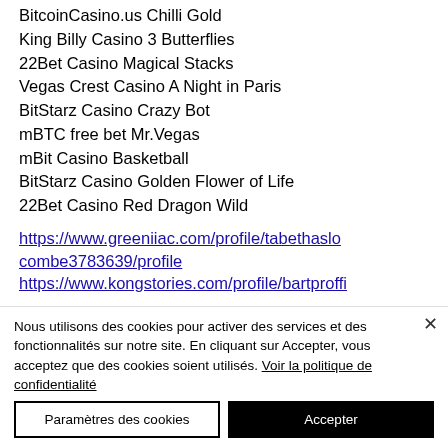BitcoinCasino.us Chilli Gold
King Billy Casino 3 Butterflies
22Bet Casino Magical Stacks
Vegas Crest Casino A Night in Paris
BitStarz Casino Crazy Bot
mBTC free bet Mr.Vegas
mBit Casino Basketball
BitStarz Casino Golden Flower of Life
22Bet Casino Red Dragon Wild
https://www.greeniiac.com/profile/tabethaslocombe3783639/profile
https://www.kongstories.com/profile/bartproffi
Nous utilisons des cookies pour activer des services et des fonctionnalités sur notre site. En cliquant sur Accepter, vous acceptez que des cookies soient utilisés. Voir la politique de confidentialité
Paramètres des cookies | Accepter